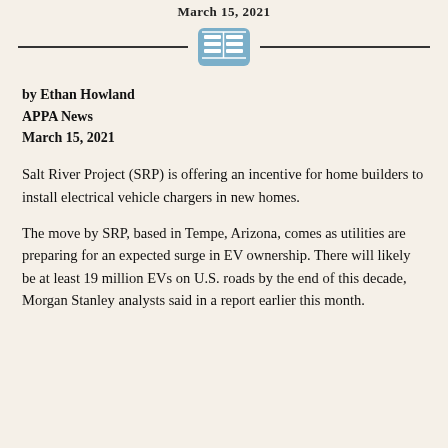March 15, 2021
[Figure (other): News/article icon: a blue rounded rectangle with a stylized table/list graphic inside]
by Ethan Howland
APPA News
March 15, 2021
Salt River Project (SRP) is offering an incentive for home builders to install electrical vehicle chargers in new homes.
The move by SRP, based in Tempe, Arizona, comes as utilities are preparing for an expected surge in EV ownership. There will likely be at least 19 million EVs on U.S. roads by the end of this decade, Morgan Stanley analysts said in a report earlier this month.